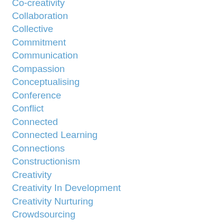Co-creativity
Collaboration
Collective
Commitment
Communication
Compassion
Conceptualising
Conference
Conflict
Connected
Connected Learning
Connections
Constructionism
Creativity
Creativity In Development
Creativity Nurturing
Crowdsourcing
Cultural Exchange
Culture
Curriculum